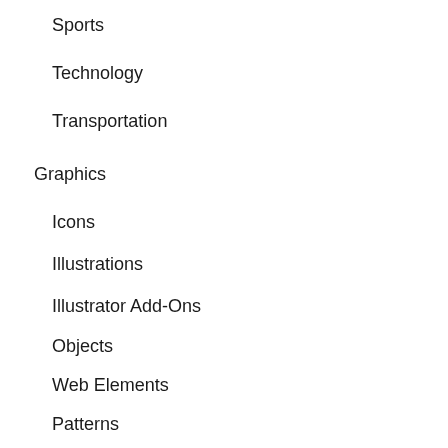Sports
Technology
Transportation
Graphics
Icons
Illustrations
Illustrator Add-Ons
Objects
Web Elements
Patterns
3D
Characters